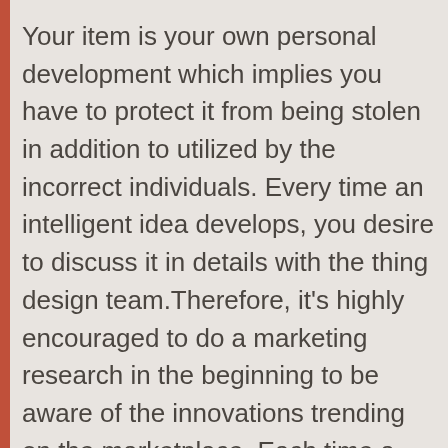Your item is your own personal development which implies you have to protect it from being stolen in addition to utilized by the incorrect individuals. Every time an intelligent idea develops, you desire to discuss it in details with the thing design team.Therefore, it's highly encouraged to do a marketing research in the beginning to be aware of the innovations trending on the marketplace. Each time a smart idea progresses, you wish to review it carefully with the thing layout group.You will not remain in a setting to charge a lot more inventor information for your merchandise or concept without validating the extra price in some manner.If one features a new company or assistance they could be giving they need to